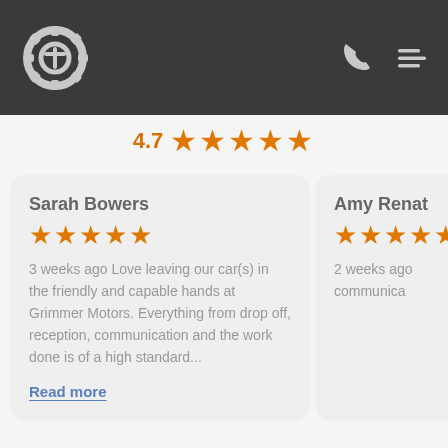[Figure (logo): Grimmer Motors gear/wrench logo in dark header bar with phone and menu icons]
4.7 ★★★★★
Sarah Bowers
★★★★★
3 weeks ago Love leaving our car(s) in the friendly and capable hands at Grimmer Motors. Everything from drop off, reception, communication and the work done is of a high standard...
Read more
Amy Renat
★★★★★
2 weeks ago communica...